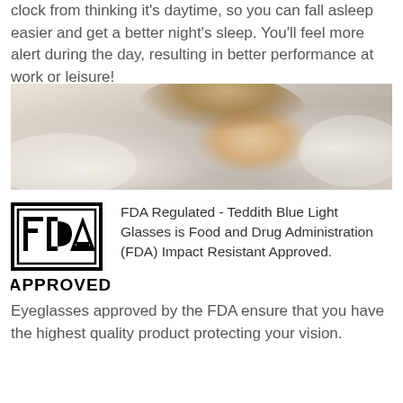clock from thinking it's daytime, so you can fall asleep easier and get a better night's sleep. You'll feel more alert during the day, resulting in better performance at work or leisure!
[Figure (photo): Woman sleeping peacefully on white pillow/bedding]
[Figure (logo): FDA Approved logo with square border and triangle]
FDA Regulated - Teddith Blue Light Glasses is Food and Drug Administration (FDA) Impact Resistant Approved. Eyeglasses approved by the FDA ensure that you have the highest quality product protecting your vision.